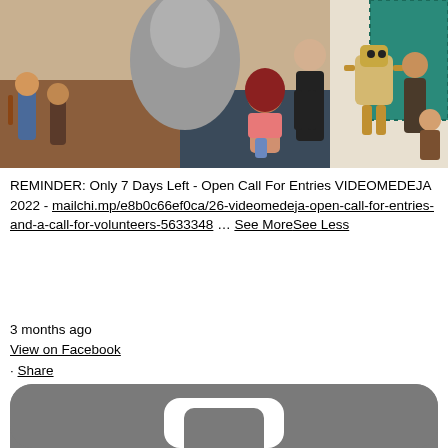[Figure (illustration): Collage of 3D animated characters in various poses — musicians, humanoid figures, a robot, and stylized people — against blended backgrounds of brown floor, dark surface, and teal pattern.]
REMINDER: Only 7 Days Left - Open Call For Entries VIDEOMEDEJA 2022 - mailchi.mp/e8b0c66ef0ca/26-videomedeja-open-call-for-entries-and-a-call-for-volunteers-5633348 … See MoreSee Less
3 months ago
View on Facebook
· Share
[Figure (logo): Partial view of a rounded square icon in gray, showing the top portion of what appears to be a letter 'g' or similar shape, white on gray background.]